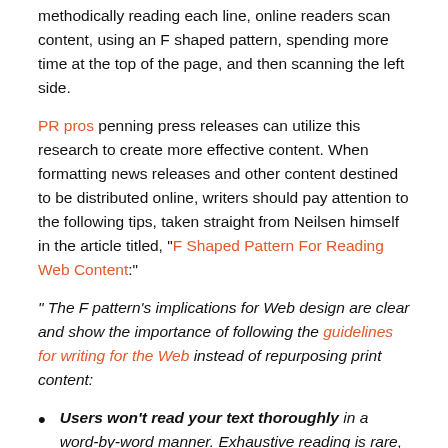methodically reading each line, online readers scan content, using an F shaped pattern, spending more time at the top of the page, and then scanning the left side.
PR pros penning press releases can utilize this research to create more effective content. When formatting news releases and other content destined to be distributed online, writers should pay attention to the following tips, taken straight from Neilsen himself in the article titled, "F Shaped Pattern For Reading Web Content:"
" The F pattern's implications for Web design are clear and show the importance of following the guidelines for writing for the Web instead of repurposing print content:
Users won't read your text thoroughly in a word-by-word manner. Exhaustive reading is rare, especially when prospective customers are conducting their initial research to